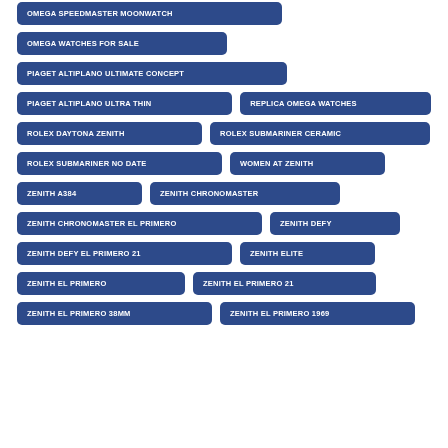OMEGA SPEEDMASTER MOONWATCH
OMEGA WATCHES FOR SALE
PIAGET ALTIPLANO ULTIMATE CONCEPT
PIAGET ALTIPLANO ULTRA THIN
REPLICA OMEGA WATCHES
ROLEX DAYTONA ZENITH
ROLEX SUBMARINER CERAMIC
ROLEX SUBMARINER NO DATE
WOMEN AT ZENITH
ZENITH A384
ZENITH CHRONOMASTER
ZENITH CHRONOMASTER EL PRIMERO
ZENITH DEFY
ZENITH DEFY EL PRIMERO 21
ZENITH ELITE
ZENITH EL PRIMERO
ZENITH EL PRIMERO 21
ZENITH EL PRIMERO 38MM
ZENITH EL PRIMERO 1969